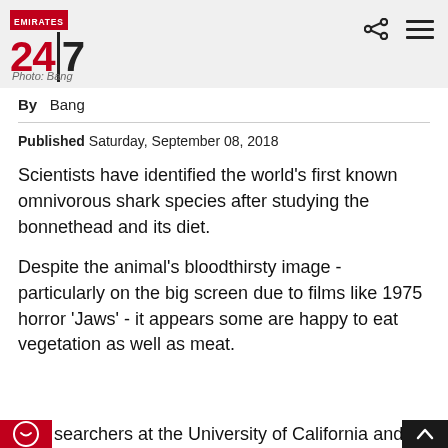EMIRATES 24|7
Photo: Bang
By  Bang
Published Saturday, September 08, 2018
Scientists have identified the world's first known omnivorous shark species after studying the bonnethead and its diet.
Despite the animal's bloodthirsty image - particularly on the big screen due to films like 1975 horror 'Jaws' - it appears some are happy to eat vegetation as well as meat.
searchers at the University of California and the